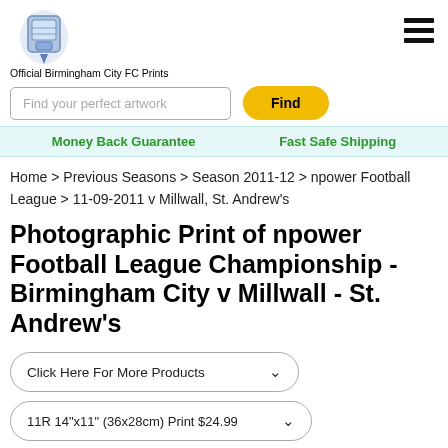Official Birmingham City FC Prints
Find your perfect artwork
Find
Money Back Guarantee    Fast Safe Shipping
Home > Previous Seasons > Season 2011-12 > npower Football League > 11-09-2011 v Millwall, St. Andrew's
Photographic Print of npower Football League Championship - Birmingham City v Millwall - St. Andrew's
Click Here For More Products
11R 14"x11" (36x28cm) Print $24.99